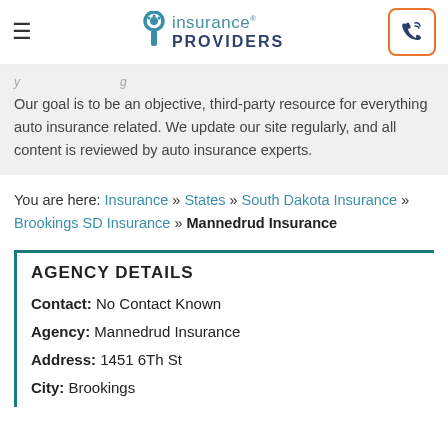Insurance Providers
Our goal is to be an objective, third-party resource for everything auto insurance related. We update our site regularly, and all content is reviewed by auto insurance experts.
You are here: Insurance » States » South Dakota Insurance » Brookings SD Insurance » Mannedrud Insurance
AGENCY DETAILS
Contact: No Contact Known
Agency: Mannedrud Insurance
Address: 1451 6Th St
City: Brookings